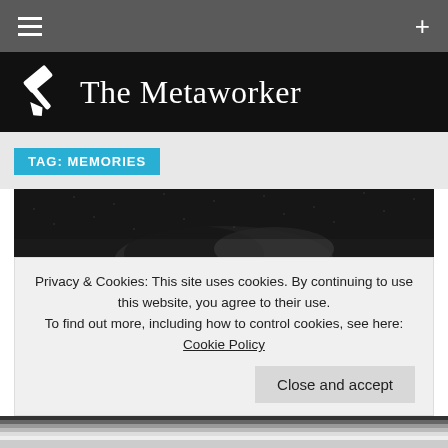The Metaworker
TAG: MEMORIES
[Figure (photo): Black and white photograph showing what appears to be a hand or body part resting on a textured fabric or surface, vintage style]
Privacy & Cookies: This site uses cookies. By continuing to use this website, you agree to their use.
To find out more, including how to control cookies, see here: Cookie Policy
Close and accept